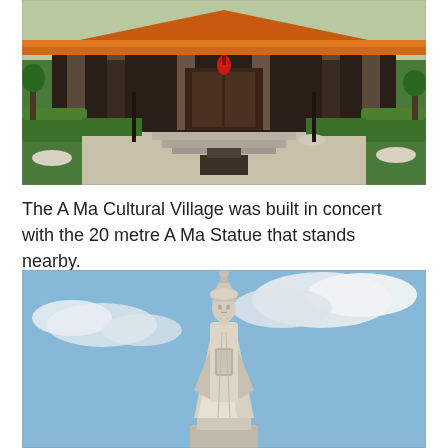[Figure (photo): A Ma Cultural Village building — a traditional Chinese temple structure with orange tiled roof, stone pillars, lush green hedges and courtyard, red lantern visible, overcast sky.]
The A Ma Cultural Village was built in concert with the 20 metre A Ma Statue that stands nearby.
[Figure (photo): The 20 metre A Ma Statue — a tall white stone statue of the goddess A Ma in robes holding an object, set against a partly cloudy blue sky.]